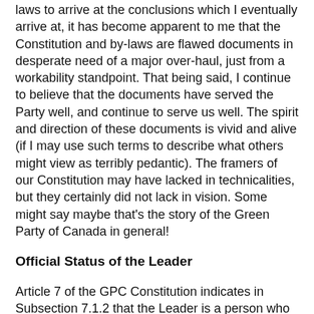laws to arrive at the conclusions which I eventually arrive at, it has become apparent to me that the Constitution and by-laws are flawed documents in desperate need of a major over-haul, just from a workability standpoint. That being said, I continue to believe that the documents have served the Party well, and continue to serve us well. The spirit and direction of these documents is vivid and alive (if I may use such terms to describe what others might view as terribly pedantic). The framers of our Constitution may have lacked in technicalities, but they certainly did not lack in vision. Some might say maybe that's the story of the Green Party of Canada in general!
Official Status of the Leader
Article 7 of the GPC Constitution indicates in Subsection 7.1.2 that the Leader is a person who has official standing within the Party under the Constitution and By-laws, and that the Leader is defined as "the Member [of the Party] filed Leader as defined by the Canada Elections Act". The only other "person" defined by Article 7 as having status within the Party is the "Member". So we are a Party composed